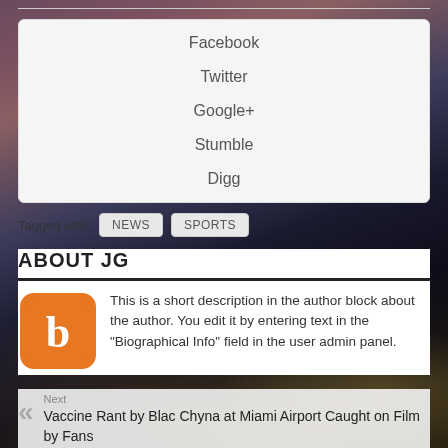Facebook
Twitter
Google+
Stumble
Digg
Tagged with: NEWS SPORTS
ABOUT JG
This is a short description in the author block about the author. You edit it by entering text in the "Biographical Info" field in the user admin panel.
Next
Vaccine Rant by Blac Chyna at Miami Airport Caught on Film by Fans